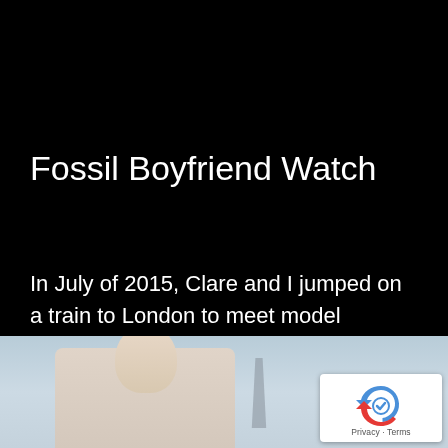Fossil Boyfriend Watch
In July of 2015, Clare and I jumped on a train to London to meet model Indiraya to continue building our Fossil watch 'Boyfriend' collection of images. This time we moved around the Westminster area on a windy but sunny day.
[Figure (photo): Photograph of a model in Westminster area, London, partially visible at the bottom of the page. A reCAPTCHA badge appears in the bottom-right corner with Privacy and Terms text.]